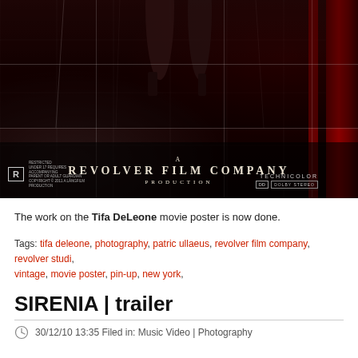[Figure (photo): Movie poster for a Revolver Film Company production. Dark red/maroon distressed background with crease marks and grid lines. Bottom shows text 'A REVOLVER FILM COMPANY PRODUCTION'. Lower left has MPAA R rating box with restriction text. Lower right has TECHNICOLOR and DOLBY STEREO logos. Red vertical stripes on right side.]
The work on the Tifa DeLeone movie poster is now done.
Tags: tifa deleone, photography, patric ullaeus, revolver film company, revolver studi..., vintage, movie poster, pin-up, new york,
SIRENIA | trailer
30/12/10 13:35 Filed in: Music Video | Photography